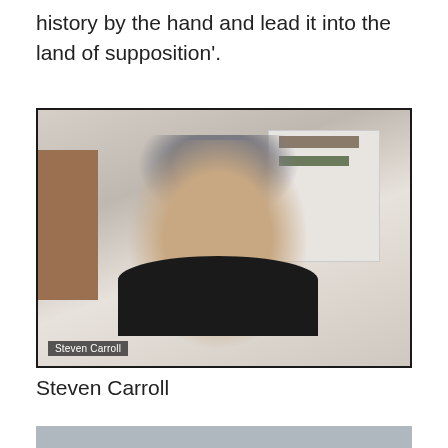history by the hand and lead it into the land of supposition'.
[Figure (photo): Video call screenshot of Steven Carroll, a man with gray hair, against a background showing shelves with books and objects. A name label reading 'Steven Carroll' appears in the lower left of the video frame.]
Steven Carroll